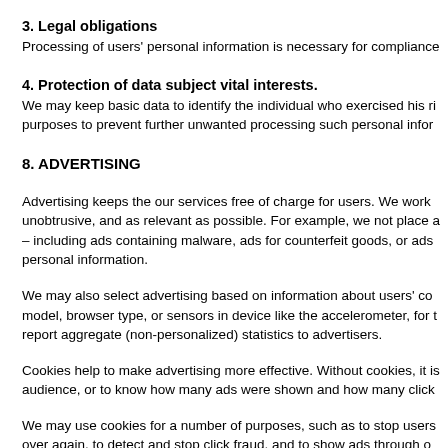3. Legal obligations
Processing of users' personal information is necessary for compliance
4. Protection of data subject vital interests.
We may keep basic data to identify the individual who exercised his ri purposes to prevent further unwanted processing such personal infor
8. ADVERTISING
Advertising keeps the our services free of charge for users. We work unobtrusive, and as relevant as possible. For example, we not place a – including ads containing malware, ads for counterfeit goods, or ads personal information.
We may also select advertising based on information about users' co model, browser type, or sensors in device like the accelerometer, for t report aggregate (non-personalized) statistics to advertisers.
Cookies help to make advertising more effective. Without cookies, it i audience, or to know how many ads were shown and how many click
We may use cookies for a number of purposes, such as to stop users over again, to detect and stop click fraud, and to show ads through o